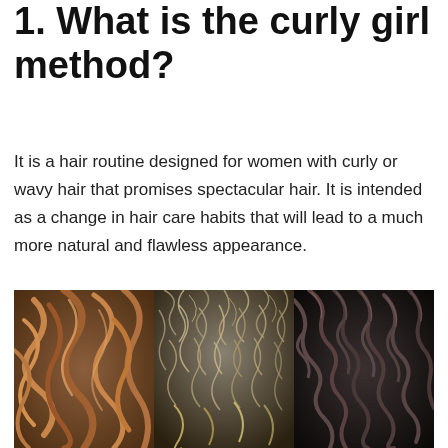1. What is the curly girl method?
It is a hair routine designed for women with curly or wavy hair that promises spectacular hair. It is intended as a change in hair care habits that will lead to a much more natural and flawless appearance.
[Figure (photo): Three side-by-side close-up photos of different curly hair types: left shows warm brown loose curls, center shows voluminous frizzy natural hair, right shows dark tight spiral curls.]